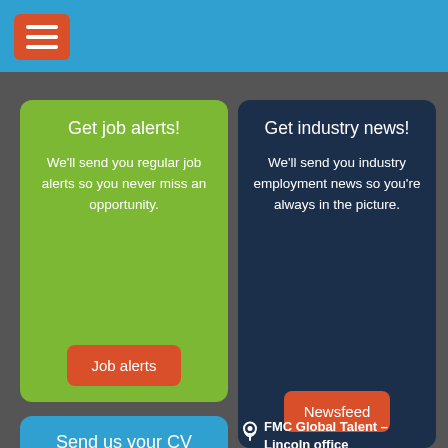Get job alerts!
We'll send you regular job alerts so you never miss an opportunity.
Job alerts
Get industry news!
We'll send you industry employment news so you're always in the picture.
Newsfeed
Send us your CV
We'll actively match you to opportunties as soon as they come live.
FMC Global Talent – Lincoln office
FMC Global Talent
Fairfax House, 2 Henley Way